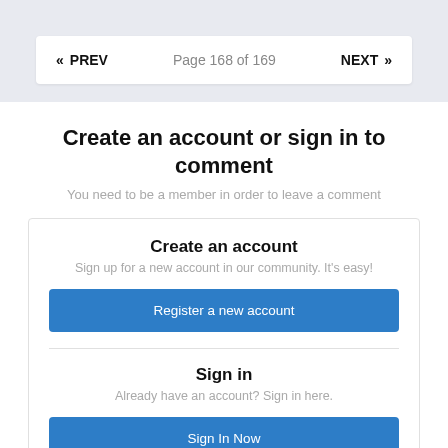« PREV   Page 168 of 169   NEXT »
Create an account or sign in to comment
You need to be a member in order to leave a comment
Create an account
Sign up for a new account in our community. It's easy!
Register a new account
Sign in
Already have an account? Sign in here.
Sign In Now